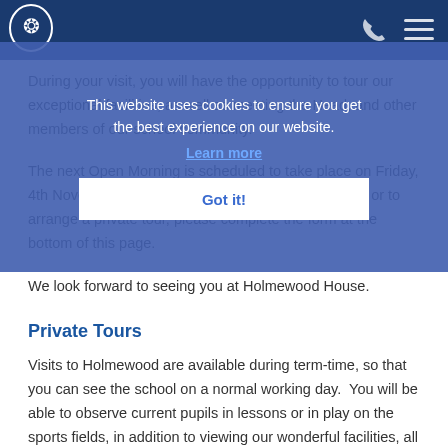Holmewood House school navigation bar with logo, phone icon, and menu icon
This website uses cookies to ensure you get the best experience on our website. Learn more
Got it!
During your visit, you will have the opportunity to tour our exceptional facilities, as well as meeting the Head, and other members of our school community.
The next Open Morning is scheduled to take place on Friday, 4th November, 2022. To book onto our open morning or to arrange a private tour, please complete the form at the bottom of this page.
We look forward to seeing you at Holmewood House.
Private Tours
Visits to Holmewood are available during term-time, so that you can see the school on a normal working day. You will be able to observe current pupils in lessons or in play on the sports fields, in addition to viewing our wonderful facilities, all set in 32 acres